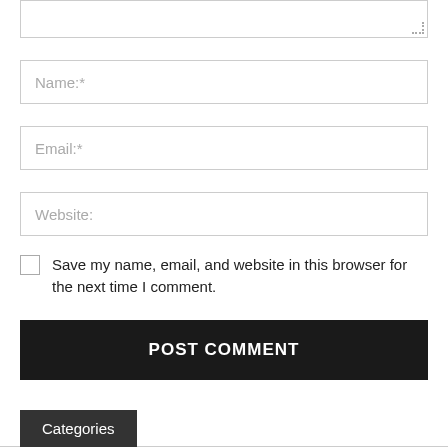[Figure (screenshot): Partial textarea input box at top of page with resize handle]
Name:*
Email:*
Website:
Save my name, email, and website in this browser for the next time I comment.
POST COMMENT
Categories
Beauty